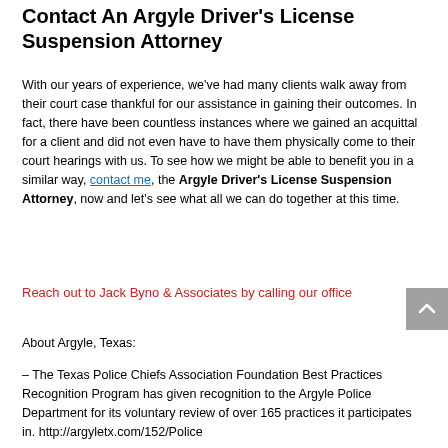Contact An Argyle Driver's License Suspension Attorney
With our years of experience, we've had many clients walk away from their court case thankful for our assistance in gaining their outcomes. In fact, there have been countless instances where we gained an acquittal for a client and did not even have to have them physically come to their court hearings with us. To see how we might be able to benefit you in a similar way, contact me, the Argyle Driver's License Suspension Attorney, now and let's see what all we can do together at this time.
Reach out to Jack Byno & Associates by calling our office
About Argyle, Texas:
– The Texas Police Chiefs Association Foundation Best Practices Recognition Program has given recognition to the Argyle Police Department for its voluntary review of over 165 practices it participates in. http://argyletx.com/152/Police